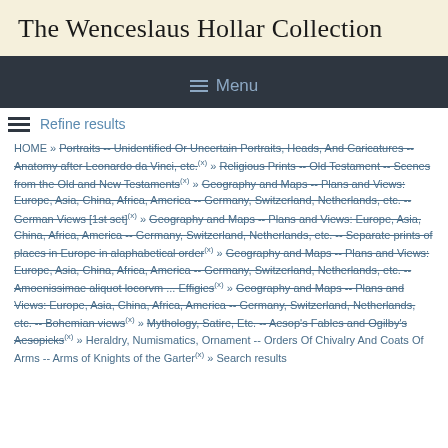The Wenceslaus Hollar Collection
☰ Menu
Refine results
HOME » [strikethrough: Portraits -- Unidentified Or Uncertain Portraits, Heads, And Caricatures -- Anatomy after Leonardo da Vinci, etc.](x) » [strikethrough: Religious Prints -- Old Testament -- Scenes from the Old and New Testaments](x) » [strikethrough: Geography and Maps -- Plans and Views: Europe, Asia, China, Africa, America -- Germany, Switzerland, Netherlands, etc. -- German Views [1st set]](x) » [strikethrough: Geography and Maps -- Plans and Views: Europe, Asia, China, Africa, America -- Germany, Switzerland, Netherlands, etc. -- Separate prints of places in Europe in alaphabetical order](x) » [strikethrough: Geography and Maps -- Plans and Views: Europe, Asia, China, Africa, America -- Germany, Switzerland, Netherlands, etc. -- Amoenissimae aliquot locorvm ... Effigies](x) » [strikethrough: Geography and Maps -- Plans and Views: Europe, Asia, China, Africa, America -- Germany, Switzerland, Netherlands, etc. -- Bohemian views](x) » [strikethrough: Mythology, Satire, Etc. -- Aesop's Fables and Ogilby's Aesopicks](x) » Heraldry, Numismatics, Ornament -- Orders Of Chivalry And Coats Of Arms -- Arms of Knights of the Garter(x) » Search results